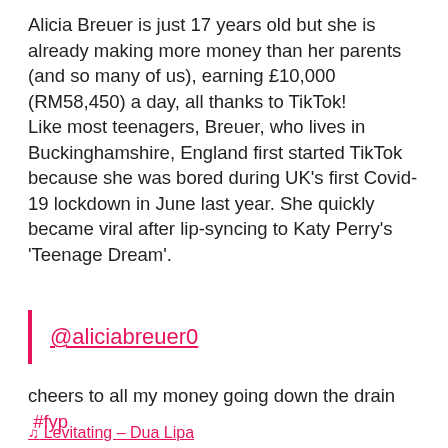Alicia Breuer is just 17 years old but she is already making more money than her parents (and so many of us), earning £10,000 (RM58,450) a day, all thanks to TikTok! Like most teenagers, Breuer, who lives in Buckinghamshire, England first started TikTok because she was bored during UK's first Covid-19 lockdown in June last year. She quickly became viral after lip-syncing to Katy Perry's 'Teenage Dream'.
@aliciabreuer0
cheers to all my money going down the drain  #fyp
♫ Levitating – Dua Lipa